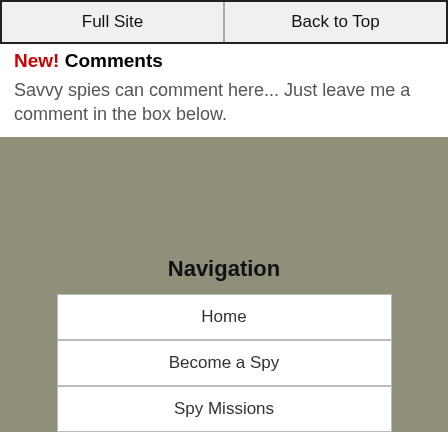Full Site | Back to Top
New! Comments
Savvy spies can comment here... Just leave me a comment in the box below.
Navigation
Home
Become a Spy
Spy Missions